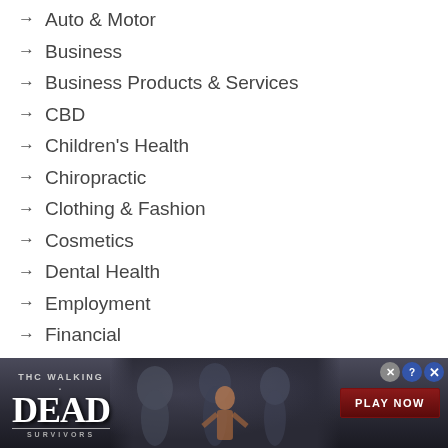Auto & Motor
Business
Business Products & Services
CBD
Children's Health
Chiropractic
Clothing & Fashion
Cosmetics
Dental Health
Employment
Financial
Food and Drink
Foods & Culinary
Foot Care
Health
Health & Fitness
[Figure (screenshot): Advertisement banner for 'The Walking Dead: Survivors' game with zombie imagery, a 'PLAY NOW' red button, and close/help icons in the top right corner.]